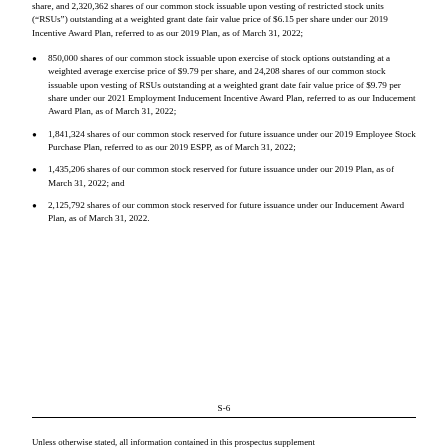share, and 2,320,362 shares of our common stock issuable upon vesting of restricted stock units (“RSUs”) outstanding at a weighted grant date fair value price of $6.15 per share under our 2019 Incentive Award Plan, referred to as our 2019 Plan, as of March 31, 2022;
850,000 shares of our common stock issuable upon exercise of stock options outstanding at a weighted average exercise price of $9.79 per share, and 24,208 shares of our common stock issuable upon vesting of RSUs outstanding at a weighted grant date fair value price of $9.79 per share under our 2021 Employment Inducement Incentive Award Plan, referred to as our Inducement Award Plan, as of March 31, 2022;
1,841,324 shares of our common stock reserved for future issuance under our 2019 Employee Stock Purchase Plan, referred to as our 2019 ESPP, as of March 31, 2022;
1,435,206 shares of our common stock reserved for future issuance under our 2019 Plan, as of March 31, 2022; and
2,125,792 shares of our common stock reserved for future issuance under our Inducement Award Plan, as of March 31, 2022.
S-6
Unless otherwise stated, all information contained in this prospectus supplement